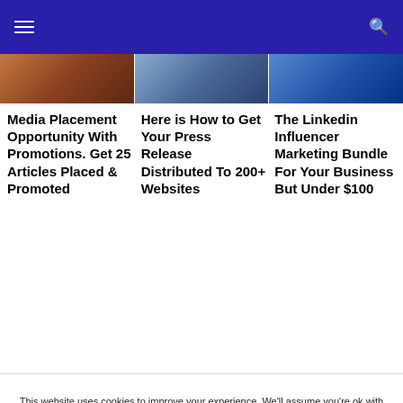Navigation bar with hamburger menu and search icon
[Figure (photo): Three thumbnail images in a row: people/media image, tablet/device image, LinkedIn profile image]
Media Placement Opportunity With Promotions. Get 25 Articles Placed & Promoted
Here is How to Get Your Press Release Distributed To 200+ Websites
The Linkedin Influencer Marketing Bundle For Your Business But Under $100
This website uses cookies to improve your experience. We'll assume you're ok with this, but you can opt-out if you wish. Cookie settings ACCEPT